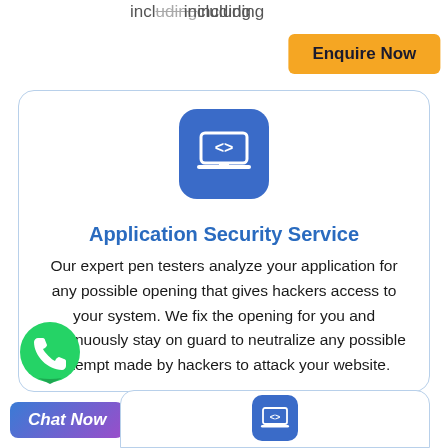including
Enquire Now
[Figure (illustration): Blue rounded square icon with a laptop/monitor displaying code brackets (<>)]
Application Security Service
Our expert pen testers analyze your application for any possible opening that gives hackers access to your system. We fix the opening for you and continuously stay on guard to neutralize any possible attempt made by hackers to attack your website.
[Figure (logo): WhatsApp green phone icon logo]
Chat Now